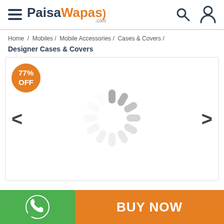PaisaWapas.com
Home / Mobiles / Mobile Accessories / Cases & Covers /
Designer Cases & Covers
[Figure (screenshot): Product image carousel showing a loading spinner with a 77% OFF badge in the top-left corner, left and right navigation arrows on the sides.]
BUY NOW